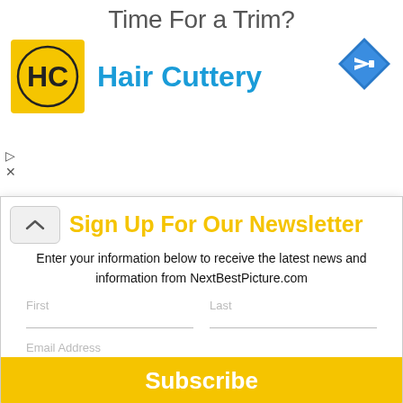[Figure (advertisement): Hair Cuttery advertisement with logo and navigation icon. Title 'Time For a Trim?' with HC logo and brand name in blue, plus a blue diamond navigation icon on the right.]
Sign Up For Our Newsletter
Enter your information below to receive the latest news and information from NextBestPicture.com
First  Last  Email Address  Subscribe
KCFCC, GFCA, IFCA
Ciarán Hinds (3) - KCFCC,